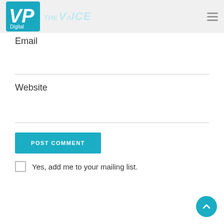VP Digital — The Voice — navigation menu
Email
Website
POST COMMENT
Yes, add me to your mailing list.